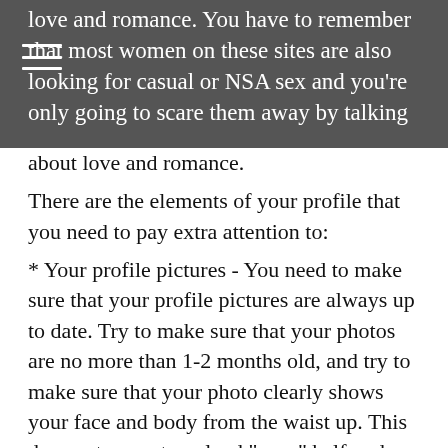love and romance. You have to remember that most women on these sites are also looking for casual or NSA sex and you're only going to scare them away by talking about love and romance.
There are the elements of your profile that you need to pay extra attention to:
* Your profile pictures - You need to make sure that your profile pictures are always up to date. Try to make sure that your photos are no more than 1-2 months old, and try to make sure that your photo clearly shows your face and body from the waist up. This does not mean to upload "sexy" half nude or nude photos. You should test and rotate our your photos to see which ones get more women's attention.
* Additional Photos - Always try to include a variety of normal pictures, such is pictures of you hanging out with friends or playing a sport, going to the pool, etc. AVOID posting any nude pictures!! Even on adult dating sites, this